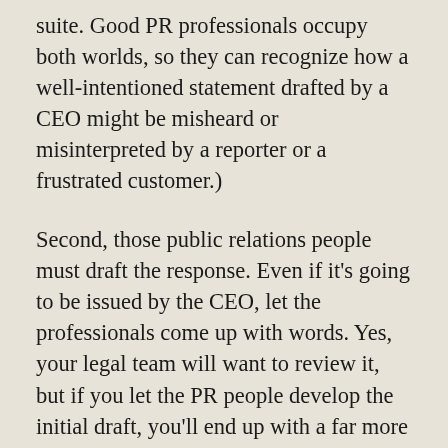suite. Good PR professionals occupy both worlds, so they can recognize how a well-intentioned statement drafted by a CEO might be misheard or misinterpreted by a reporter or a frustrated customer.)
Second, those public relations people must draft the response. Even if it's going to be issued by the CEO, let the professionals come up with words. Yes, your legal team will want to review it, but if you let the PR people develop the initial draft, you'll end up with a far more effective response than if you let the lawyers write it and allow PR to edit it. Messages that are drafted by